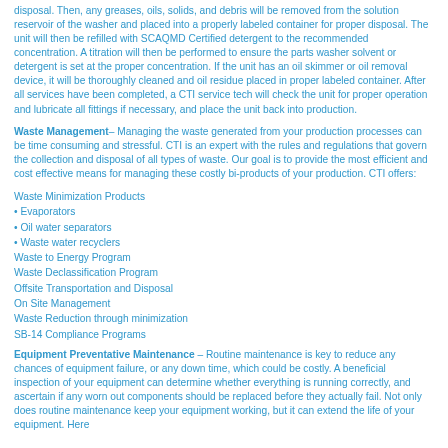disposal. Then, any greases, oils, solids, and debris will be removed from the solution reservoir of the washer and placed into a properly labeled container for proper disposal. The unit will then be refilled with SCAQMD Certified detergent to the recommended concentration. A titration will then be performed to ensure the parts washer solvent or detergent is set at the proper concentration. If the unit has an oil skimmer or oil removal device, it will be thoroughly cleaned and oil residue placed in proper labeled container. After all services have been completed, a CTI service tech will check the unit for proper operation and lubricate all fittings if necessary, and place the unit back into production.
Waste Management – Managing the waste generated from your production processes can be time consuming and stressful. CTI is an expert with the rules and regulations that govern the collection and disposal of all types of waste. Our goal is to provide the most efficient and cost effective means for managing these costly bi-products of your production. CTI offers:
Waste Minimization Products
• Evaporators
• Oil water separators
• Waste water recyclers
Waste to Energy Program
Waste Declassification Program
Offsite Transportation and Disposal
On Site Management
Waste Reduction through minimization
SB-14 Compliance Programs
Equipment Preventative Maintenance – Routine maintenance is key to reduce any chances of equipment failure, or any down time, which could be costly. A beneficial inspection of your equipment can determine whether everything is running correctly, and ascertain if any worn out components should be replaced before they actually fail. Not only does routine maintenance keep your equipment working, but it can extend the life of your equipment. Here